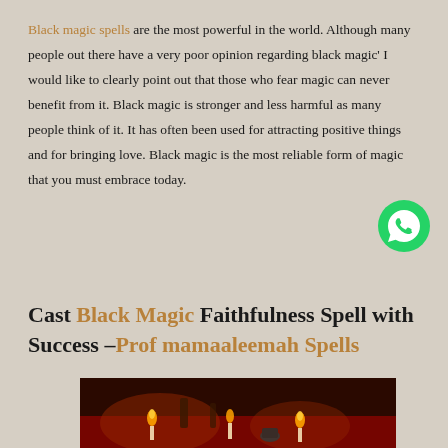Black magic spells are the most powerful in the world. Although many people out there have a very poor opinion regarding black magic' I would like to clearly point out that those who fear magic can never benefit from it. Black magic is stronger and less harmful as many people think of it. It has often been used for attracting positive things and for bringing love. Black magic is the most reliable form of magic that you must embrace today.
[Figure (logo): WhatsApp green circular logo icon]
Cast Black Magic Faithfulness Spell with Success –Prof mamaaleemah Spells
[Figure (photo): Dark atmospheric photo of a ritual table with candles, bottles, and mystical items on a red cloth]